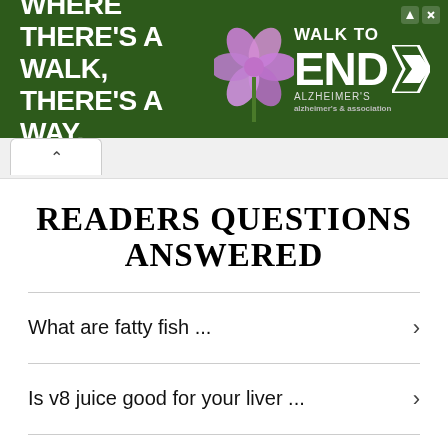[Figure (infographic): Advertisement banner: green background with purple flower. Text reads 'WHERE THERE'S A WALK, THERE'S A WAY.' and 'WALK TO END ALZHEIMER'S' logo with arrow icon.]
READERS QUESTIONS ANSWERED
What are fatty fish ...
Is v8 juice good for your liver ...
What are the foods to eat to lose weight ...